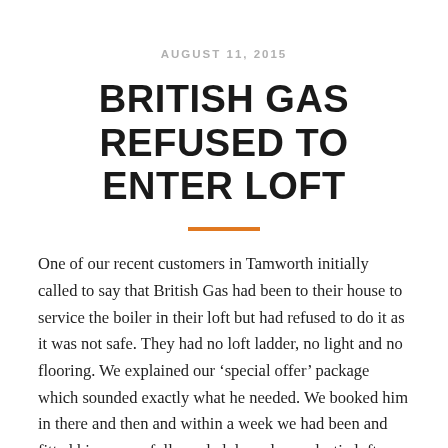AUGUST 11, 2015
BRITISH GAS REFUSED TO ENTER LOFT
One of our recent customers in Tamworth initially called to say that British Gas had been to their house to service the boiler in their loft but had refused to do it as it was not safe. They had no loft ladder, no light and no flooring. We explained our ‘special offer’ package which sounded exactly what he needed. We booked him in there and then and within a week we had been and fitted him a new fully sealed drop-down plastic loft hatch, a light & switch, a 2 section British made, aluminium loft